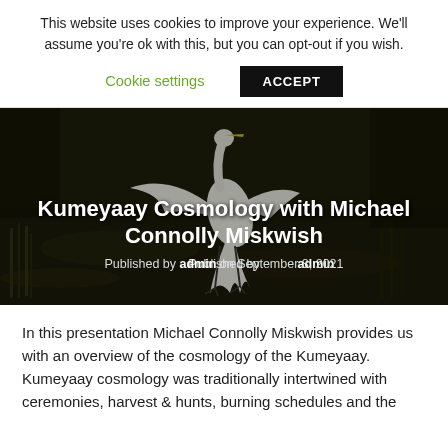This website uses cookies to improve your experience. We'll assume you're ok with this, but you can opt-out if you wish.
Cookie settings  ACCEPT
[Figure (photo): A white egret bird with wings spread, standing in dark water with reeds in the background. Article hero image for 'Kumeyaay Cosmology with Michael Connolly Miskwish'.]
Kumeyaay Cosmology with Michael Connolly Miskwish
Published by admin on September 8, 2021
In this presentation Michael Connolly Miskwish provides us with an overview of the cosmology of the Kumeyaay. Kumeyaay cosmology was traditionally intertwined with ceremonies, harvest & hunts, burning schedules and the